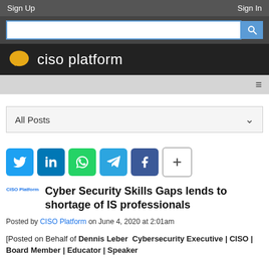Sign Up   Sign In
[Figure (screenshot): Search input box with blue search button icon]
[Figure (logo): CISO Platform logo: orange chat bubble icon with 'ciso platform' text in white on dark background]
[Figure (screenshot): Navigation bar with hamburger menu icon on right]
All Posts
[Figure (infographic): Social sharing buttons: Twitter, LinkedIn, WhatsApp, Telegram, Facebook, plus button]
Cyber Security Skills Gaps lends to shortage of IS professionals
Posted by CISO Platform on June 4, 2020 at 2:01am
[Posted on Behalf of Dennis Leber  Cybersecurity Executive | CISO | Board Member | Educator | Speaker